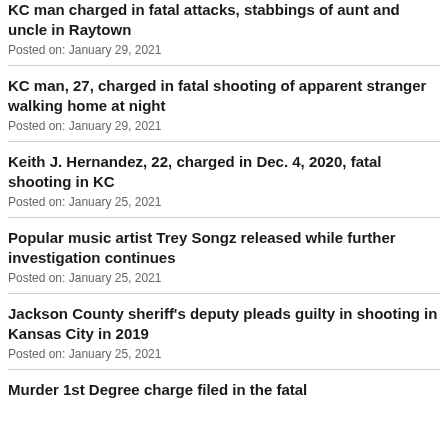KC man charged in fatal attacks, stabbings of aunt and uncle in Raytown
Posted on: January 29, 2021
KC man, 27, charged in fatal shooting of apparent stranger walking home at night
Posted on: January 29, 2021
Keith J. Hernandez, 22, charged in Dec. 4, 2020, fatal shooting in KC
Posted on: January 25, 2021
Popular music artist Trey Songz released while further investigation continues
Posted on: January 25, 2021
Jackson County sheriff's deputy pleads guilty in shooting in Kansas City in 2019
Posted on: January 25, 2021
Murder 1st Degree charge filed in the fatal